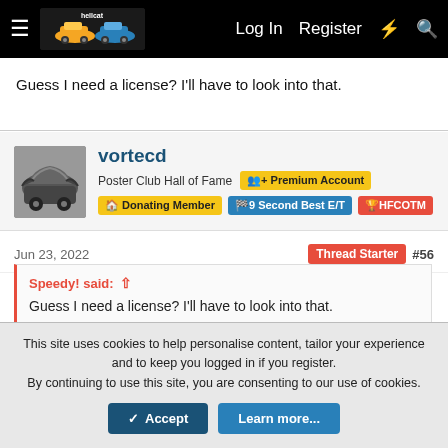Log In  Register
Guess I need a license? I'll have to look into that.
vortecd
Poster Club Hall of Fame  Premium Account
Donating Member  9 Second Best E/T  HFCOTM
Jun 23, 2022  Thread Starter #56
Speedy! said: ↑
Guess I need a license? I'll have to look into that.
I think time is more on their radar then speed but after your new
This site uses cookies to help personalise content, tailor your experience and to keep you logged in if you register.
By continuing to use this site, you are consenting to our use of cookies.
Accept  Learn more...